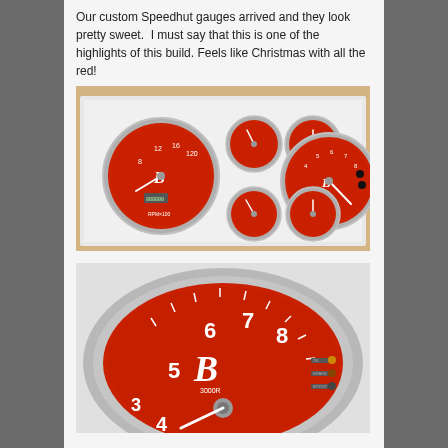Our custom Speedhut gauges arrived and they look pretty sweet.  I must say that this is one of the highlights of this build. Feels like Christmas with all the red!
[Figure (photo): A set of custom Speedhut gauges with red faces and silver bezels, displayed in a white box with cardboard backing. The set includes two large circular gauges (speedometer and tachometer), two medium gauges, and two small gauges.]
[Figure (photo): Close-up of a single large red-faced gauge with silver bezel, showing numbers 3-8 on the dial face with a decorative B script logo, and indicator lights on the right side.]